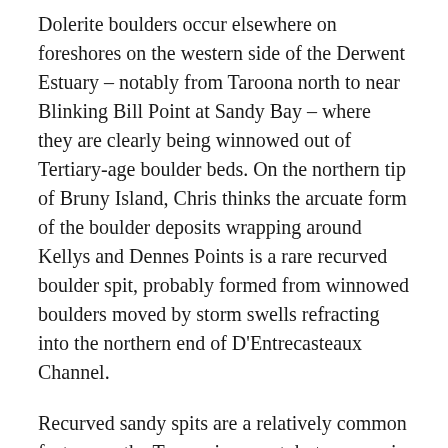Dolerite boulders occur elsewhere on foreshores on the western side of the Derwent Estuary – notably from Taroona north to near Blinking Bill Point at Sandy Bay – where they are clearly being winnowed out of Tertiary-age boulder beds. On the northern tip of Bruny Island, Chris thinks the arcuate form of the boulder deposits wrapping around Kellys and Dennes Points is a rare recurved boulder spit, probably formed from winnowed boulders moved by storm swells refracting into the northern end of D'Entrecasteaux Channel.
Recurved sandy spits are a relatively common feature on the Tasmanian coast, but are rare in material as coarse as these boulders.
Locally, the boulders appear to be actively eroding from a weakly cemented conglomerate on Kellys